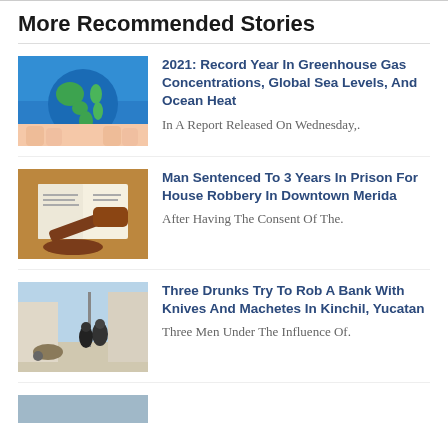More Recommended Stories
[Figure (photo): Hands holding a globe of the Earth against a blue sky]
2021: Record Year In Greenhouse Gas Concentrations, Global Sea Levels, And Ocean Heat
In A Report Released On Wednesday,.
[Figure (photo): A wooden judge's gavel resting on a sound block with an open book in the background]
Man Sentenced To 3 Years In Prison For House Robbery In Downtown Merida
After Having The Consent Of The.
[Figure (photo): Police officers standing in a street scene outdoors]
Three Drunks Try To Rob A Bank With Knives And Machetes In Kinchil, Yucatan
Three Men Under The Influence Of.